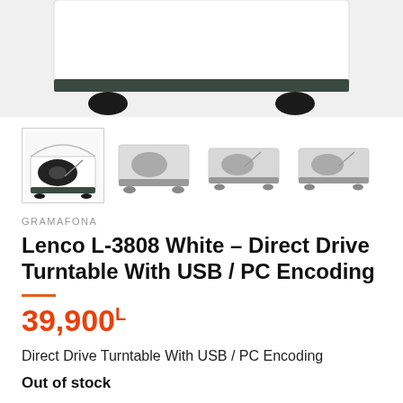[Figure (photo): Top view of a white Lenco L-3808 turntable showing the base and feet against a light background]
[Figure (photo): Four thumbnail images of the Lenco L-3808 White turntable from different angles: front/side with lid open, top-down with lid closed, back/side, and front angled]
GRAMAFONA
Lenco L-3808 White - Direct Drive Turntable With USB / PC Encoding
39,900L
Direct Drive Turntable With USB / PC Encoding
Out of stock